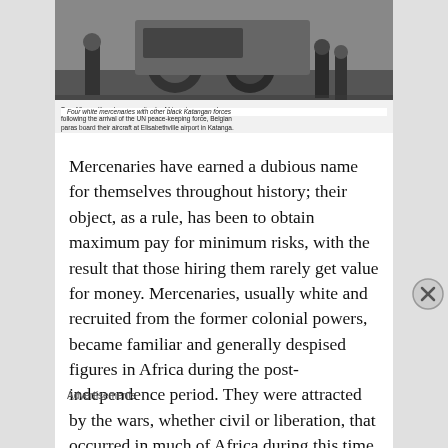[Figure (photo): Black and white photograph showing military/conflict scene with vehicle and soldiers. Caption reads: 'Top: After putting down a mutiny by African troops, and following the arrival of the UN peace-keeping force, Belgian paras board their aircraft at Elisabethville airport in Katanga.' Second caption: 'Four white mercenaries with other black Katangan forces']
Top: After putting down a mutiny by African troops, and following the arrival of the UN peace-keeping force, Belgian paras board their aircraft at Elisabethville airport in Katanga.
Four white mercenaries with other black Katangan forces
Mercenaries have earned a dubious name for themselves throughout history; their object, as a rule, has been to obtain maximum pay for minimum risks, with the result that those hiring them rarely get value for money. Mercenaries, usually white and recruited from the former colonial powers, became familiar and generally despised figures in Africa during the post-independence period. They were attracted by the wars, whether civil or liberation, that occurred in much of Africa during this time and, as a rule, were to be found on the side of reaction:
Advertisements